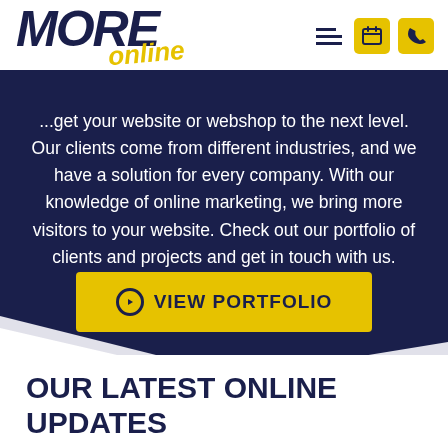MORE online
...get your website or webshop to the next level. Our clients come from different industries, and we have a solution for every company. With our knowledge of online marketing, we bring more visitors to your website. Check out our portfolio of clients and projects and get in touch with us.
VIEW PORTFOLIO
OUR LATEST ONLINE UPDATES